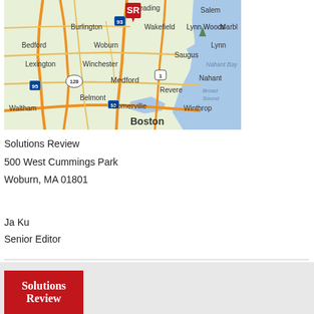[Figure (map): Google Maps view of the Greater Boston area showing Woburn, MA and surrounding towns including Burlington, Bedford, Lexington, Waltham, Winchester, Medford, Belmont, Somerville, Boston, Revere, Winthrop, Saugus, Lynn, Nahant, and other nearby locations. A red SR logo marker is visible near Reading/Woburn.]
Solutions Review
500 West Cummings Park
Woburn, MA 01801
Ja Ku
Senior Editor
[Figure (logo): Solutions Review logo — red rectangle with white serif text reading 'Solutions Review']